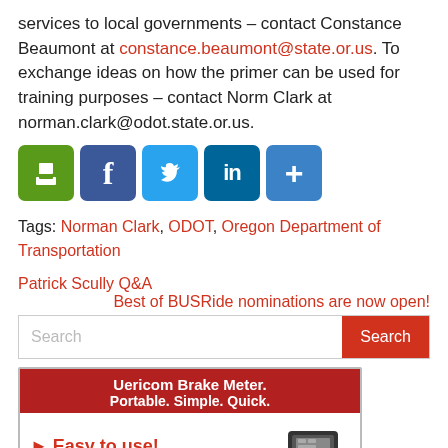services to local governments – contact Constance Beaumont at constance.beaumont@state.or.us. To exchange ideas on how the primer can be used for training purposes – contact Norm Clark at norman.clark@odot.state.or.us.
[Figure (infographic): Social sharing icons: print (green), Facebook (blue), Twitter (light blue), LinkedIn (dark blue), more/share (blue)]
Tags: Norman Clark, ODOT, Oregon Department of Transportation
Patrick Scully Q&A
Best of BUSRide nominations are now open!
[Figure (screenshot): Search bar with placeholder text 'Search' and a red Search button]
[Figure (infographic): Advertisement for Vericom Brake Meter: 'Portable. Simple. Quick.' with 'Easy to use!' text and an image of the device]